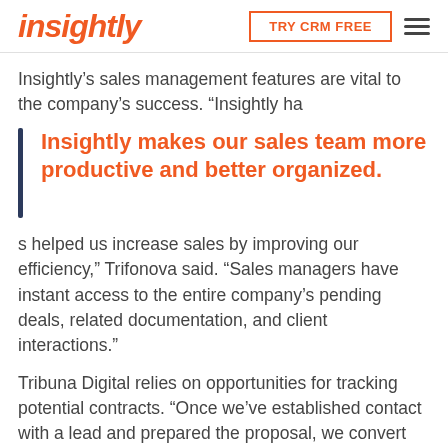insightly | TRY CRM FREE
Insightly’s sales management features are vital to the company’s success. “Insightly ha
Insightly makes our sales team more productive and better organized.
s helped us increase sales by improving our efficiency,” Trifonova said. “Sales managers have instant access to the entire company’s pending deals, related documentation, and client interactions.”
Tribuna Digital relies on opportunities for tracking potential contracts. “Once we’ve established contact with a lead and prepared the proposal, we convert the record into an opportunity,” Trifonova said. “Opportunities are crucial to our sales process